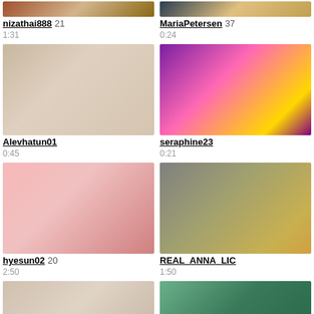[Figure (photo): Thumbnail for nizathai888]
nizathai888 21
1:31
[Figure (photo): Thumbnail for MariaPetersen]
MariaPetersen 37
0:24
[Figure (photo): Thumbnail for Alevhatun01]
Alevhatun01
0:45
[Figure (photo): Thumbnail for seraphine23]
seraphine23
0:21
[Figure (photo): Thumbnail for hyesun02]
hyesun02 20
2:50
[Figure (photo): Thumbnail for REAL_ANNA_LIC]
REAL_ANNA_LIC
1:50
[Figure (photo): Thumbnail partial bottom left]
[Figure (photo): Thumbnail partial bottom right]